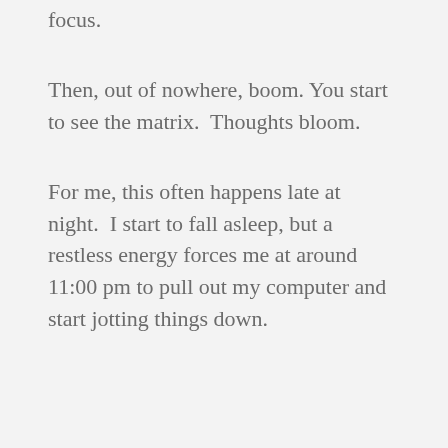focus.
Then, out of nowhere, boom. You start to see the matrix.  Thoughts bloom.
For me, this often happens late at night.  I start to fall asleep, but a restless energy forces me at around 11:00 pm to pull out my computer and start jotting things down.